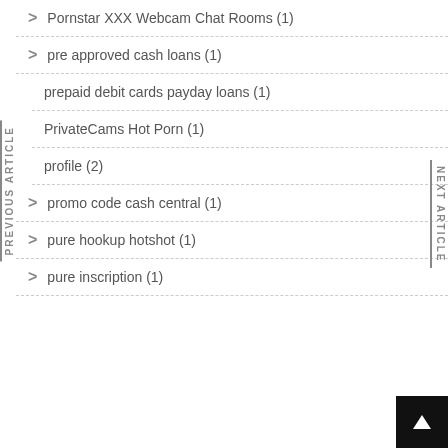Pornstar XXX Webcam Chat Rooms (1)
pre approved cash loans (1)
prepaid debit cards payday loans (1)
PrivateCams Hot Porn (1)
profile (2)
promo code cash central (1)
pure hookup hotshot (1)
pure inscription (1)